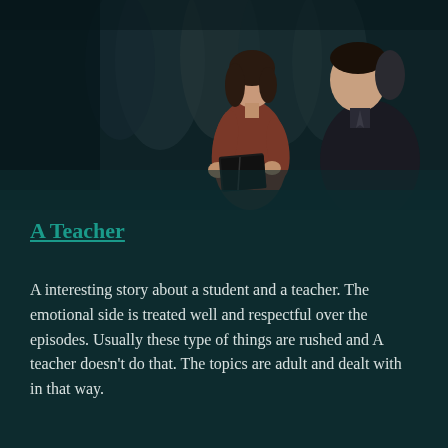[Figure (photo): A woman in a red/maroon top holding an open notebook, standing opposite a man in a suit, in a dim corridor setting.]
A Teacher
A interesting story about a student and a teacher. The emotional side is treated well and respectful over the episodes. Usually these type of things are rushed and A teacher doesn't do that. The topics are adult and dealt with in that way.